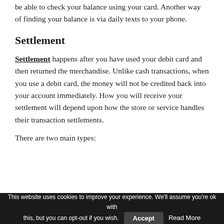be able to check your balance using your card. Another way of finding your balance is via daily texts to your phone.
Settlement
Settlement happens after you have used your debit card and then returned the merchandise. Unlike cash transactions, when you use a debit card, the money will not be credited back into your account immediately. How you will receive your settlement will depend upon how the store or service handles their transaction settlements.
There are two main types:
This website uses cookies to improve your experience. We'll assume you're ok with this, but you can opt-out if you wish. Accept Read More